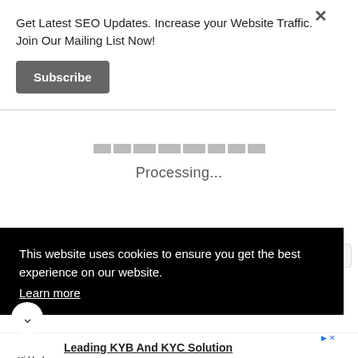Get Latest SEO Updates. Increase your Website Traffic. Join Our Mailing List Now!
Subscribe
Processing...
This website uses cookies to ensure you get the best experience on our website.
Learn more
Leading KYB And KYC Solution
Gain complete, up-to-date data on every registered business in the U.S. Learn more today. Middesk
Open